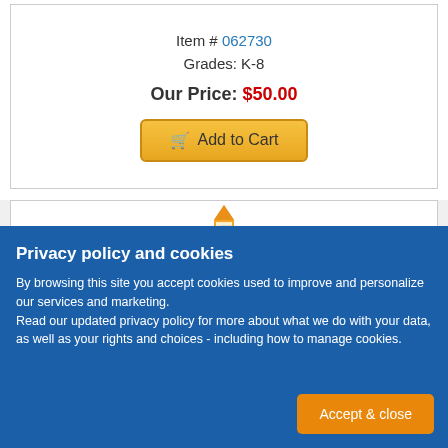Item # 062730
Grades: K-8
Our Price: $50.00
Add to Cart
[Figure (illustration): Partial view of a product image at the top of a second product card]
Privacy policy and cookies
By browsing this site you accept cookies used to improve and personalize our services and marketing.
Read our updated privacy policy for more about what we do with your data, as well as your rights and choices - including how to manage cookies.
Accept & close